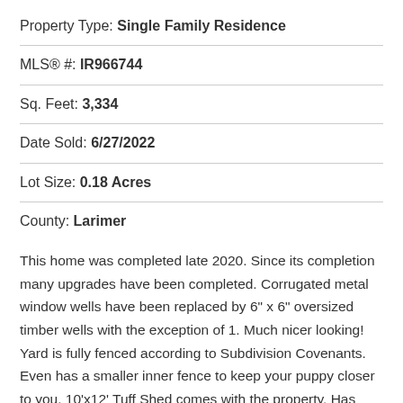Property Type: Single Family Residence
MLS® #: IR966744
Sq. Feet: 3,334
Date Sold: 6/27/2022
Lot Size: 0.18 Acres
County: Larimer
This home was completed late 2020. Since its completion many upgrades have been completed. Corrugated metal window wells have been replaced by 6" x 6" oversized timber wells with the exception of 1. Much nicer looking! Yard is fully fenced according to Subdivision Covenants. Even has a smaller inner fence to keep your puppy closer to you. 10'x12' Tuff Shed comes with the property. Has windows & a work bench. Great place to do your gardening. In addition, there are